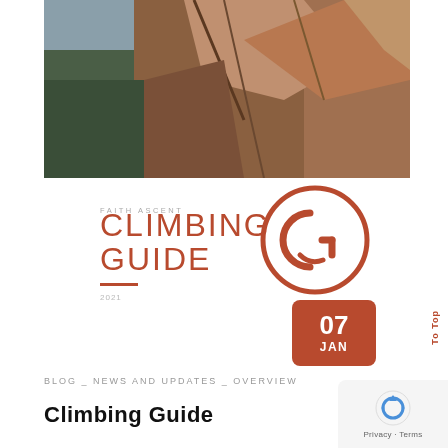[Figure (photo): Rocky cliff face with forest and sky in background, dramatic landscape climbing photo]
FAITH ASCENT
CLIMBING GUIDE
2021
[Figure (logo): Circular logo with stylized CG letters in burnt orange/rust color]
[Figure (other): Date badge: 07 JAN in rust/brown square]
BLOG _ NEWS AND UPDATES _ OVERVIEW
Climbing Guide